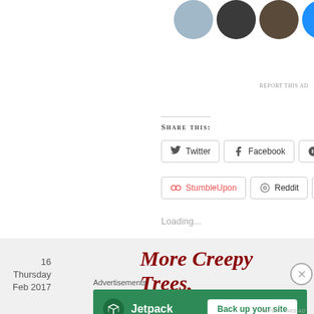[Figure (photo): Three circular avatar photos and a blue plus button in a row at the top]
REPORT THIS AD
Share this:
Twitter
Facebook
Pinterest
StumbleUpon
Reddit
Tumblr
Loading...
16
Thursday
Feb 2017
More Creepy Trees, Y’All
Advertisements
[Figure (screenshot): Jetpack advertisement banner with green background, Jetpack logo and 'Back up your site' button]